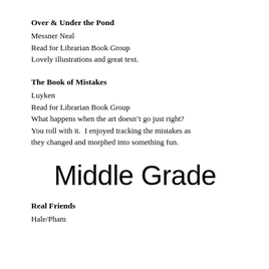Over & Under the Pond
Messner Neal
Read for Librarian Book Group
Lovely illustrations and great text.
The Book of Mistakes
Luyken
Read for Librarian Book Group
What happens when the art doesn’t go just right? You roll with it.  I enjoyed tracking the mistakes as they changed and morphed into something fun.
Middle Grade
Real Friends
Hale/Pham